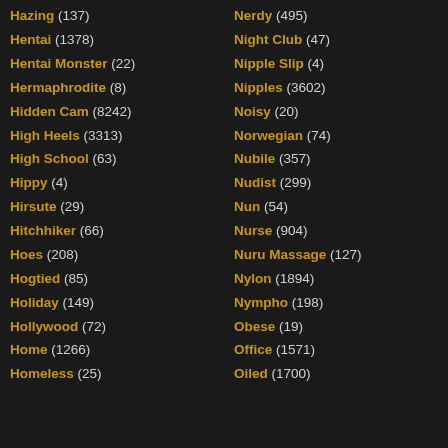Hazing (137)
Hentai (1378)
Hentai Monster (22)
Hermaphrodite (8)
Hidden Cam (8242)
High Heels (3313)
High School (63)
Hippy (4)
Hirsute (29)
Hitchhiker (66)
Hoes (208)
Hogtied (85)
Holiday (149)
Hollywood (72)
Home (1266)
Homeless (25)
Nerdy (495)
Night Club (47)
Nipple Slip (4)
Nipples (3602)
Noisy (20)
Norwegian (74)
Nubile (357)
Nudist (299)
Nun (54)
Nurse (904)
Nuru Massage (127)
Nylon (1894)
Nympho (198)
Obese (19)
Office (1571)
Oiled (1700)